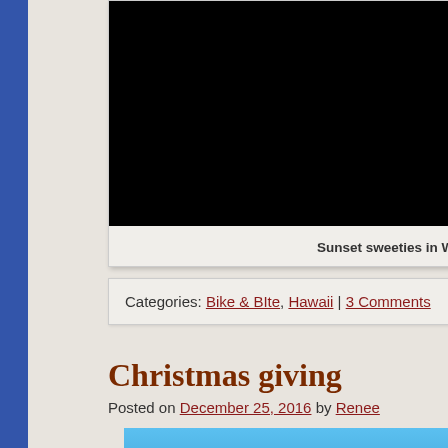[Figure (photo): Dark/near-black photograph, appears to be a night or low-light scene, partially cropped. Caption reads 'Sunset sweeties in Wai...']
Sunset sweeties in Wai
Categories: Bike & BIte, Hawaii | 3 Comments
Christmas giving
Posted on December 25, 2016 by Renee
[Figure (photo): Partially visible blue sky photograph at the bottom of the page]